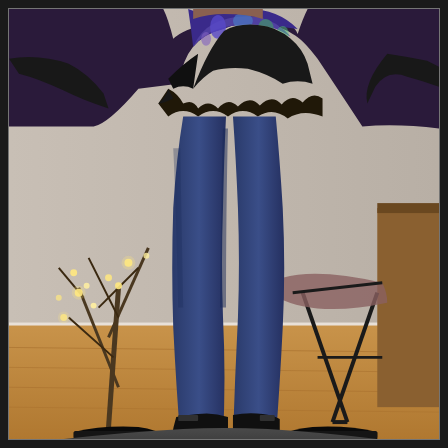[Figure (photo): A person standing indoors wearing dark blue skinny jeans, black ankle boots, and a black peplum top with a colorful floral/paisley blue and purple top underneath. To the left is a terracotta pot with a bare branch decorated with string lights. In the background is a metal folding chair, a wooden door, and a hardwood floor. The person is standing on a dark gray shaggy rug. The photo has a thin white/light border around it on a dark background.]